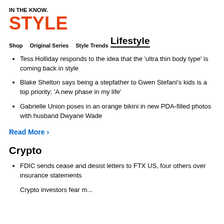IN THE KNOW. STYLE
Shop   Original Series   Style Trends
Lifestyle
Tess Holliday responds to the idea that the 'ultra thin body type' is coming back in style
Blake Shelton says being a stepfather to Gwen Stefani's kids is a top priority: 'A new phase in my life'
Gabrielle Union poses in an orange bikini in new PDA-filled photos with husband Dwyane Wade
Read More ›
Crypto
FDIC sends cease and desist letters to FTX US, four others over insurance statements
...